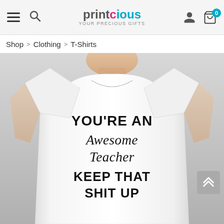printcious – YOUR PRECIOUS GIFTS (navigation bar with hamburger menu, search, user icon, cart with 0 items)
Shop > Clothing > T-Shirts
[Figure (photo): A man wearing a white t-shirt with text printed on it: YOU'RE AN Awesome Teacher KEEP THAT SHIT UP]